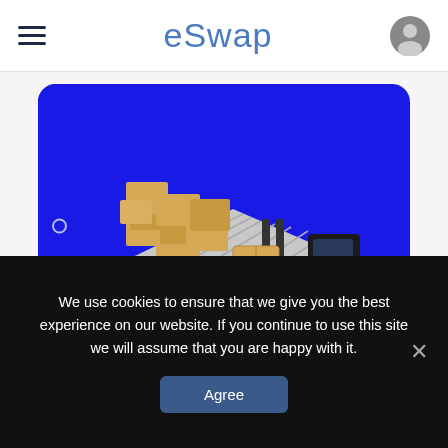eSwap
[Figure (illustration): Isometric illustration of a warehouse with stacked cardboard boxes and a yellow forklift on a blue rounded-rectangle background card]
We use cookies to ensure that we give you the best experience on our website. If you continue to use this site we will assume that you are happy with it.